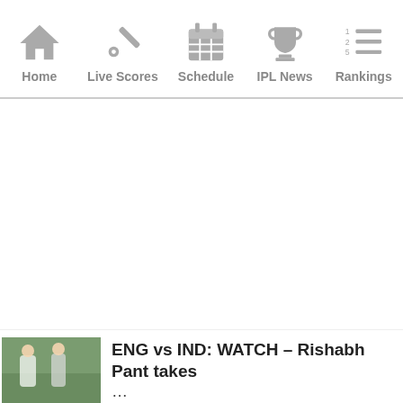Home | Live Scores | Schedule | IPL News | Rankings
[Figure (screenshot): Large white blank content area (advertisement or loading content area)]
ENG vs IND: WATCH – Rishabh Pant takes
...